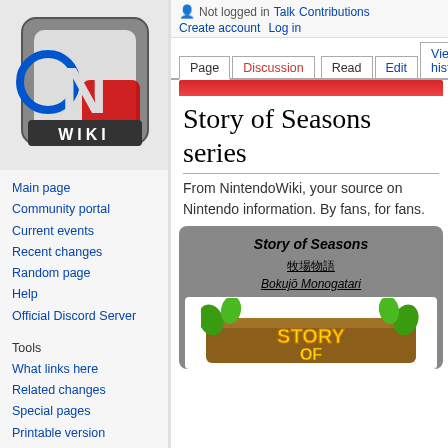[Figure (logo): NintendoWiki logo — stylized N and WIKI text with red, blue, gray design]
Not logged in  Talk  Contributions  Create account  Log in
Page  Discussion  Read  Edit  View history  Search NintendoWiki
Main page
Community portal
Current events
Recent changes
Random page
Help
Official Discord Server
Tools
What links here
Related changes
Special pages
Printable version
Permanent link
Story of Seasons series
From NintendoWiki, your source on Nintendo information. By fans, for fans.
| Story of Seasons |
| 牧場物語 |
| Bokujō Monogatari |